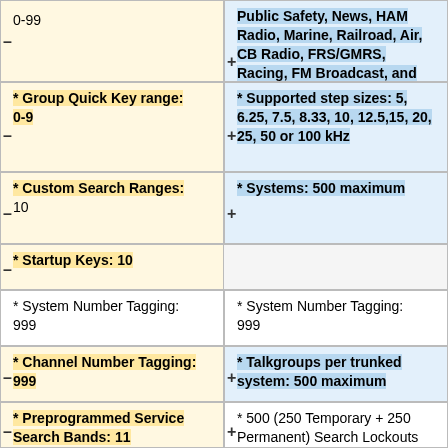0-99
Public Safety, News, HAM Radio, Marine, Railroad, Air, CB Radio, FRS/GMRS, Racing, FM Broadcast, and Special (Itinerant)
* Group Quick Key range: 0-9
* Supported step sizes: 5, 6.25, 7.5, 8.33, 10, 12.5, 15, 20, 25, 50 or 100 kHz
* Custom Search Ranges: 10
* Systems: 500 maximum
* Startup Keys: 10
* System Number Tagging: 999
* System Number Tagging: 999
* Channel Number Tagging: 999
* Talkgroups per trunked system: 500 maximum
* Preprogrammed Service Search Bands: 11
* 500 (250 Temporary + 250 Permanent) Search Lockouts